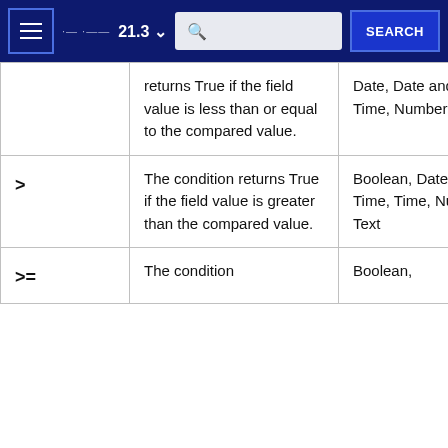21.3 SEARCH
| Operator | Description | Field Types |
| --- | --- | --- |
|  | returns True if the field value is less than or equal to the compared value. | Date, Date and Time, Time, Numbers, Text |
| > | The condition returns True if the field value is greater than the compared value. | Boolean, Date, Date and Time, Time, Numbers, Text |
| >= | The condition | Boolean, |